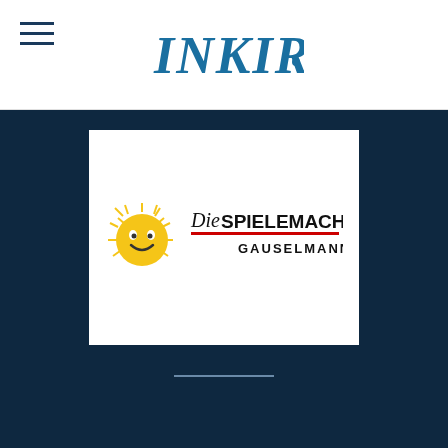[Figure (logo): INKIRE logo in dark teal handwritten style text]
[Figure (logo): Die Spielemacher Gauselmann logo with sun mascot character and brand name]